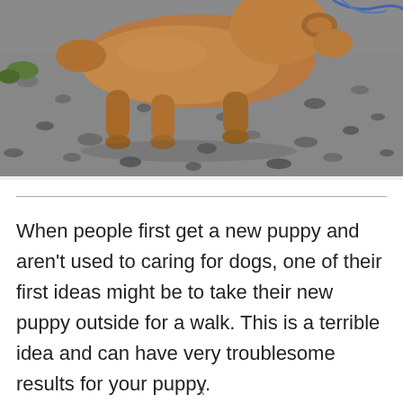[Figure (photo): A brown puppy on a gravel/rocky ground surface, partially cropped, with a leash visible at the top right.]
When people first get a new puppy and aren't used to caring for dogs, one of their first ideas might be to take their new puppy outside for a walk. This is a terrible idea and can have very troublesome results for your puppy.